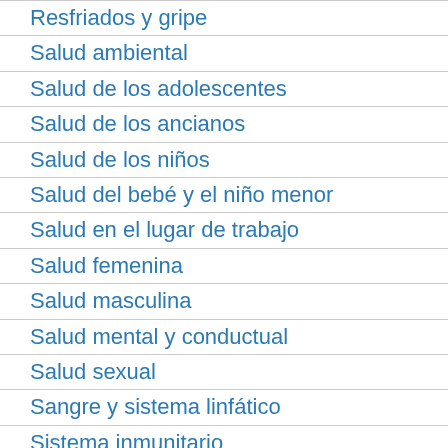Resfriados y gripe
Salud ambiental
Salud de los adolescentes
Salud de los ancianos
Salud de los niños
Salud del bebé y el niño menor
Salud en el lugar de trabajo
Salud femenina
Salud masculina
Salud mental y conductual
Salud sexual
Sangre y sistema linfático
Sistema inmunitario
Trastornos genéticos